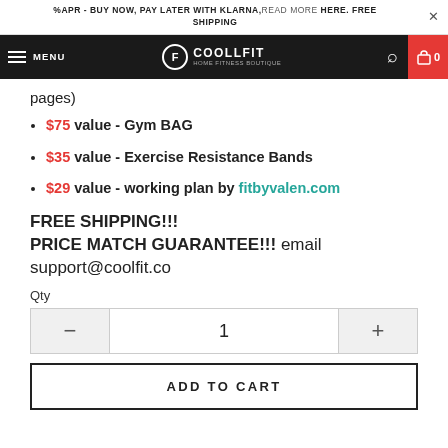%APR - BUY NOW, PAY LATER WITH KLARNA, READ MORE HERE. FREE SHIPPING
MENU COOLLFIT HOME FITNESS BOUTIQUE 0
pages)
$75 value - Gym BAG
$35 value - Exercise Resistance Bands
$29 value - working plan by fitbyvalen.com
FREE SHIPPING!!! PRICE MATCH GUARANTEE!!! email support@coolfit.co
Qty
1
ADD TO CART